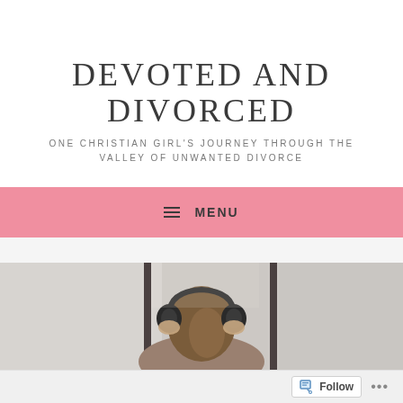DEVOTED AND DIVORCED
ONE CHRISTIAN GIRL'S JOURNEY THROUGH THE VALLEY OF UNWANTED DIVORCE
≡ MENU
[Figure (photo): A woman seen from behind wearing over-ear headphones, with brown hair, in a blurred background setting]
Follow ...